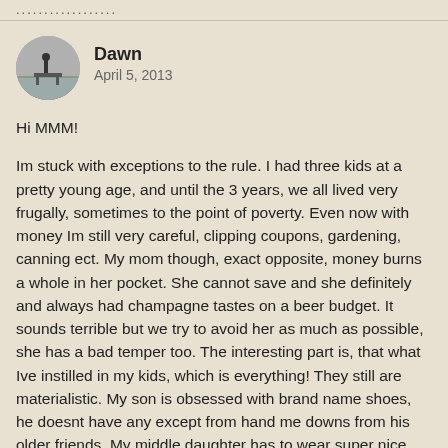..................
[Figure (photo): Circular avatar photo of a person near water, black and white]
Dawn
April 5, 2013
Hi MMM!

Im stuck with exceptions to the rule. I had three kids at a pretty young age, and until the 3 years, we all lived very frugally, sometimes to the point of poverty. Even now with money Im still very careful, clipping coupons, gardening, canning ect. My mom though, exact opposite, money burns a whole in her pocket. She cannot save and she definitely and always had champagne tastes on a beer budget. It sounds terrible but we try to avoid her as much as possible, she has a bad temper too. The interesting part is, that what Ive instilled in my kids, which is everything! They still are materialistic. My son is obsessed with brand name shoes, he doesnt have any except from hand me downs from his older friends. My middle daughter has to wear super nice clothes, not branded but pretty and my oldest is just lazy. We dont have cable, they do have a game console. No cell phones, which a lot of my friends make fun of me about. Chores, they do know how to do more than most kids, they can bake better than I can! They do get the ride to and from school, but they also know and have to take public